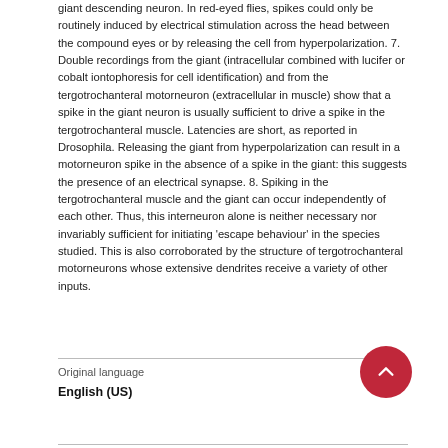giant descending neuron. In red-eyed flies, spikes could only be routinely induced by electrical stimulation across the head between the compound eyes or by releasing the cell from hyperpolarization. 7. Double recordings from the giant (intracellular combined with lucifer or cobalt iontophoresis for cell identification) and from the tergotrochanteral motorneuron (extracellular in muscle) show that a spike in the giant neuron is usually sufficient to drive a spike in the tergotrochanteral muscle. Latencies are short, as reported in Drosophila. Releasing the giant from hyperpolarization can result in a motorneuron spike in the absence of a spike in the giant: this suggests the presence of an electrical synapse. 8. Spiking in the tergotrochanteral muscle and the giant can occur independently of each other. Thus, this interneuron alone is neither necessary nor invariably sufficient for initiating 'escape behaviour' in the species studied. This is also corroborated by the structure of tergotrochanteral motorneurons whose extensive dendrites receive a variety of other inputs.
Original language
English (US)